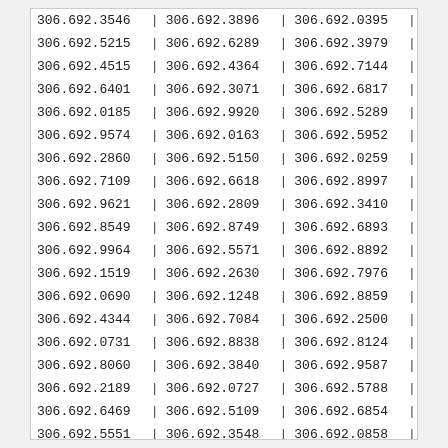| col1 | pipe1 | col2 | pipe2 | col3 | pipe3 |
| --- | --- | --- | --- | --- | --- |
| 306.692.3546 | | | 306.692.3896 | | | 306.692.0395 | | |
| 306.692.5215 | | | 306.692.6289 | | | 306.692.3979 | | |
| 306.692.4515 | | | 306.692.4364 | | | 306.692.7144 | | |
| 306.692.6401 | | | 306.692.3071 | | | 306.692.6817 | | |
| 306.692.0185 | | | 306.692.9920 | | | 306.692.5289 | | |
| 306.692.9574 | | | 306.692.0163 | | | 306.692.5952 | | |
| 306.692.2860 | | | 306.692.5150 | | | 306.692.0259 | | |
| 306.692.7109 | | | 306.692.6618 | | | 306.692.8997 | | |
| 306.692.9621 | | | 306.692.2809 | | | 306.692.3410 | | |
| 306.692.8549 | | | 306.692.8749 | | | 306.692.6893 | | |
| 306.692.9964 | | | 306.692.5571 | | | 306.692.8892 | | |
| 306.692.1519 | | | 306.692.2630 | | | 306.692.7976 | | |
| 306.692.0690 | | | 306.692.1248 | | | 306.692.8859 | | |
| 306.692.4344 | | | 306.692.7084 | | | 306.692.2500 | | |
| 306.692.0731 | | | 306.692.8838 | | | 306.692.8124 | | |
| 306.692.8060 | | | 306.692.3840 | | | 306.692.9587 | | |
| 306.692.2189 | | | 306.692.0727 | | | 306.692.5788 | | |
| 306.692.6469 | | | 306.692.5109 | | | 306.692.6854 | | |
| 306.692.5551 | | | 306.692.3548 | | | 306.692.0858 | | |